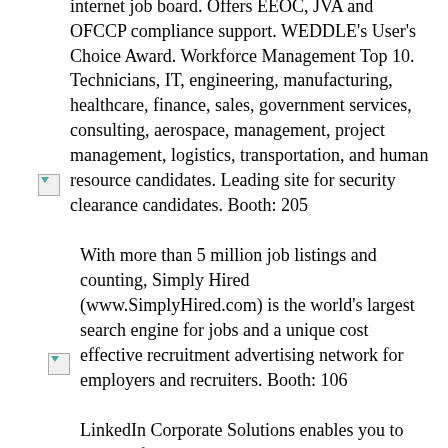internet job board. Offers EEOC, JVA and OFCCP compliance support. WEDDLE's User's Choice Award. Workforce Management Top 10. Technicians, IT, engineering, manufacturing, healthcare, finance, sales, government services, consulting, aerospace, management, project management, logistics, transportation, and human resource candidates. Leading site for security clearance candidates. Booth: 205
With more than 5 million job listings and counting, Simply Hired (www.SimplyHired.com) is the world's largest search engine for jobs and a unique cost effective recruitment advertising network for employers and recruiters. Booth: 106
LinkedIn Corporate Solutions enables you to quickly find, contact, and hire the best candidates for your most important jobs. With Corporate